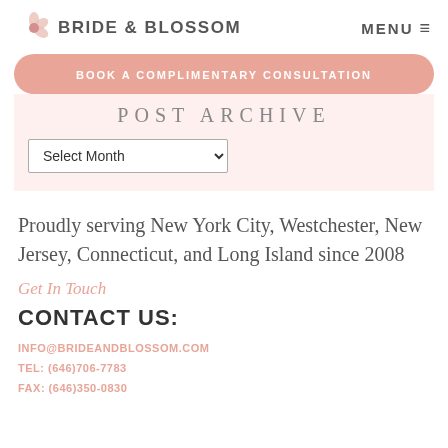BRIDE & BLOSSOM  MENU
BOOK A COMPLIMENTARY CONSULTATION
POST ARCHIVE
Select Month
Proudly serving New York City, Westchester, New Jersey, Connecticut, and Long Island since 2008
Get In Touch
CONTACT US:
INFO@BRIDEANDBLOSSOM.COM
TEL: (646)706-7783
FAX: (646)350-0830